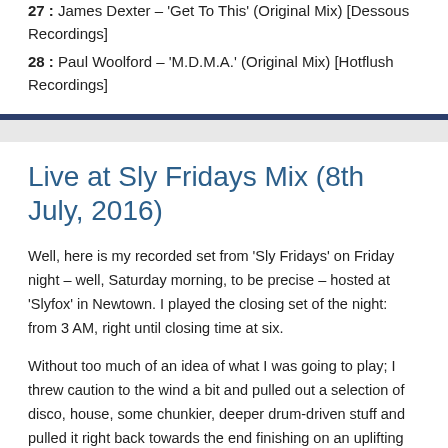27 : James Dexter – 'Get To This' (Original Mix) [Dessous Recordings]
28 : Paul Woolford – 'M.D.M.A.' (Original Mix) [Hotflush Recordings]
Live at Sly Fridays Mix (8th July, 2016)
Well, here is my recorded set from 'Sly Fridays' on Friday night – well, Saturday morning, to be precise – hosted at 'Slyfox' in Newtown. I played the closing set of the night: from 3 AM, right until closing time at six.
Without too much of an idea of what I was going to play; I threw caution to the wind a bit and pulled out a selection of disco, house, some chunkier, deeper drum-driven stuff and pulled it right back towards the end finishing on an uplifting tip – much to the delight of some weary punters!
In particular, I wanted to send out special thanks to Jackson Winter